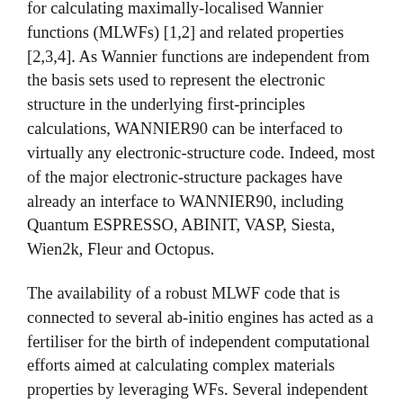for calculating maximally-localised Wannier functions (MLWFs) [1,2] and related properties [2,3,4]. As Wannier functions are independent from the basis sets used to represent the electronic structure in the underlying first-principles calculations, WANNIER90 can be interfaced to virtually any electronic-structure code. Indeed, most of the major electronic-structure packages have already an interface to WANNIER90, including Quantum ESPRESSO, ABINIT, VASP, Siesta, Wien2k, Fleur and Octopus.
The availability of a robust MLWF code that is connected to several ab-initio engines has acted as a fertiliser for the birth of independent computational efforts aimed at calculating complex materials properties by leveraging WFs. Several independent packages exploiting MLWFs and WANNIER90 exist nowadays, targeting a number of properties, from electron-phonon coupling [5] (EPW) to topological invariants [6] (Z2Pack), surface spectral densities [7] (WannierTools), Berry-phase related properties [8] (Wannier Berri), tight-